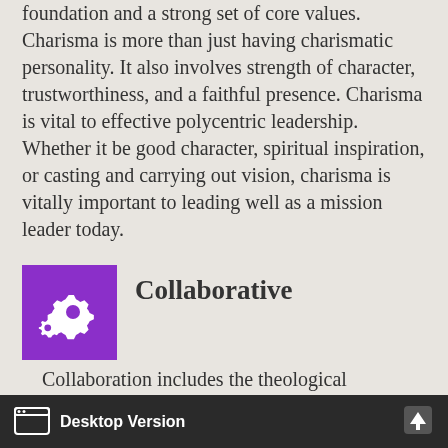foundation and a strong set of core values. Charisma is more than just having charismatic personality. It also involves strength of character, trustworthiness, and a faithful presence. Charisma is vital to effective polycentric leadership. Whether it be good character, spiritual inspiration, or casting and carrying out vision, charisma is vitally important to leading well as a mission leader today.
Collaborative
Collaboration includes the theological collaboration around the power of the Trinity, working together in a shared
Desktop Version